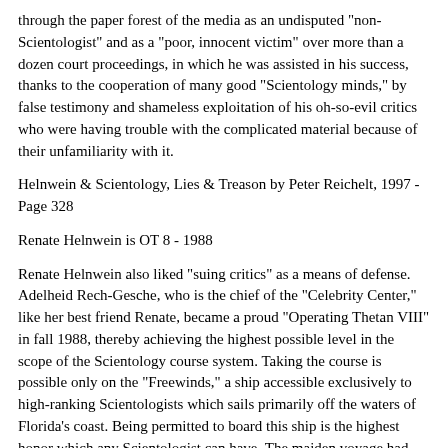through the paper forest of the media as an undisputed "non-Scientologist" and as a "poor, innocent victim" over more than a dozen court proceedings, in which he was assisted in his success, thanks to the cooperation of many good "Scientology minds," by false testimony and shameless exploitation of his oh-so-evil critics who were having trouble with the complicated material because of their unfamiliarity with it.
Helnwein & Scientology, Lies & Treason by Peter Reichelt, 1997 - Page 328
Renate Helnwein is OT 8 - 1988
Renate Helnwein also liked "suing critics" as a means of defense. Adelheid Rech-Gesche, who is the chief of the "Celebrity Center," like her best friend Renate, became a proud "Operating Thetan VIII" in fall 1988, thereby achieving the highest possible level in the scope of the Scientology course system. Taking the course is possible only on the "Freewinds," a ship accessible exclusively to high-ranking Scientologists which sails primarily off the waters of Florida's coast. Being permitted to board this ship is the highest honor which any Scientologist can have. The maiden voyage had just occurred in 1988 and, what an honor, both women, thanks to generous "donations" to Scientology, were allowed to "be there" in the same year. To be sure, a prerequisite was many years of